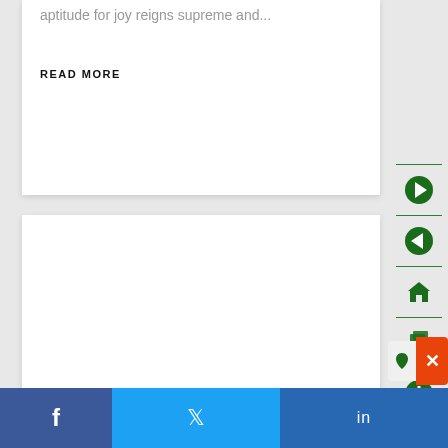aptitude for joy reigns supreme and...
READ MORE
[Figure (screenshot): White content card with gray text excerpt and bold READ MORE link]
[Figure (screenshot): Second white content card below, mostly empty]
[Figure (infographic): Right sidebar with green navigation icons: next arrow, previous arrow, home, pages, plus/add, and a popup widget with orange close button]
[Figure (infographic): Social share footer bar with Facebook (dark blue), Twitter (light blue), LinkedIn (medium blue) icons]